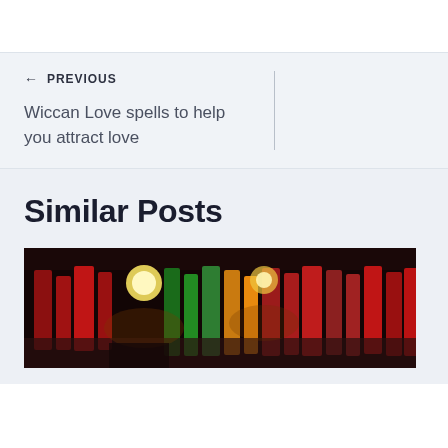← PREVIOUS
Wiccan Love spells to help you attract love
Similar Posts
[Figure (photo): A dark interior scene showing colorful hanging candles or lanterns in red, yellow, green and other colors, with warm ambient lighting]